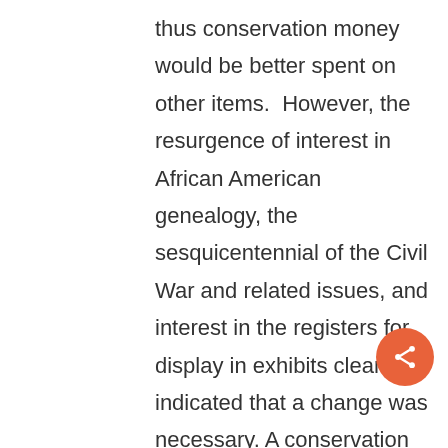thus conservation money would be better spent on other items.  However, the resurgence of interest in African American genealogy, the sesquicentennial of the Civil War and related issues, and interest in the registers for display in exhibits clearly indicated that a change was necessary. A conservation inventory was done for all of the volumes and the ones that require treatment will receive it over time and as funds allow.

So what is a free Negro register and why